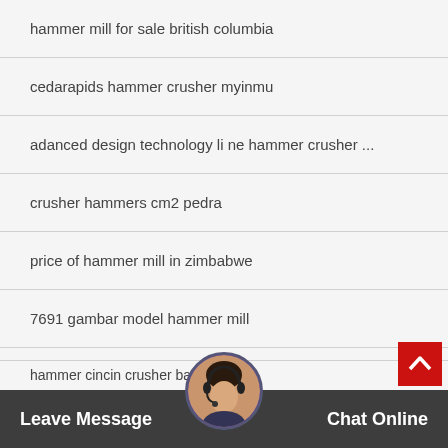hammer mill for sale british columbia
cedarapids hammer crusher myinmu
adanced design technology li ne hammer crusher ...
crusher hammers cm2 pedra
price of hammer mill in zimbabwe
7691 gambar model hammer mill
what is the working principle of a ring hammer cru
hammer cincin crusher barbara
Leave Message
Chat Online